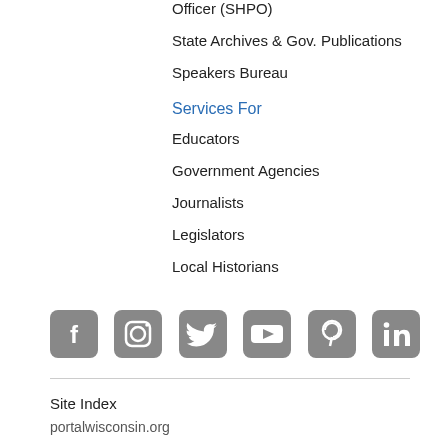Officer (SHPO)
State Archives & Gov. Publications
Speakers Bureau
Services For
Educators
Government Agencies
Journalists
Legislators
Local Historians
[Figure (infographic): Row of six social media icons: Facebook, Instagram, Twitter, YouTube, Pinterest, LinkedIn, all in grey rounded square style]
Site Index
portalwisconsin.org